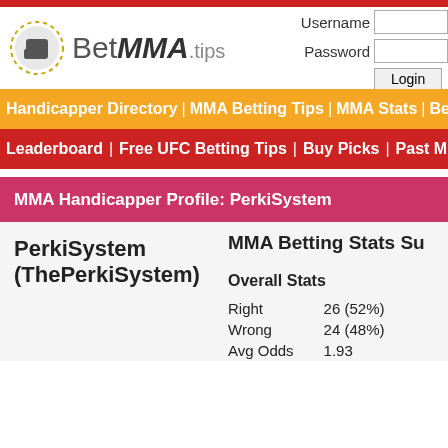[Figure (logo): BetMMA.tips logo with fist icon and dotted circle]
Username
Password
Login
Handicapper Directory | MMA Betting Tips | MMA Stats | Betting
Leaderboard | Free UFC Betting Tips | Buy Picks | Past MMA
MMA Handicapper Profile: PerkiSystem
PerkiSystem (ThePerkiSystem)
MMA Betting Stats Su
Overall Stats
|  |  |
| --- | --- |
| Right | 26 (52%) |
| Wrong | 24 (48%) |
| Avg Odds | 1.93 |